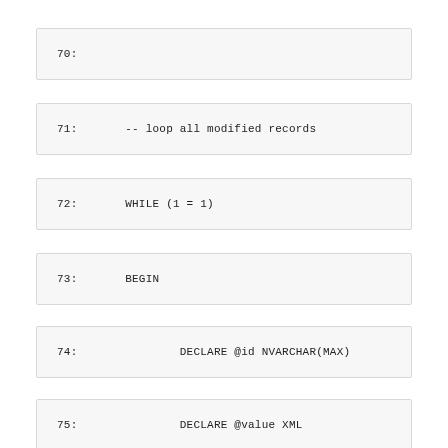70:
71:        -- loop all modified records
72:        WHILE (1 = 1)
73:        BEGIN
74:                DECLARE @id NVARCHAR(MAX)
75:                DECLARE @value XML
76: